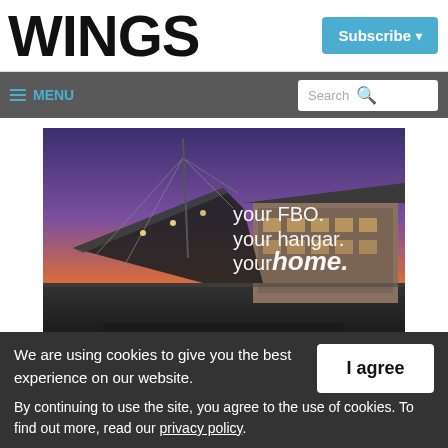WINGS
Subscribe ▾
≡ MENU   Search 🔍
[Figure (photo): Aviation FBO building at dusk with text overlay: 'your FBO. your hangar. your home.' and partial MILLION AIR logo at bottom]
We are using cookies to give you the best experience on our website.
By continuing to use the site, you agree to the use of cookies. To find out more, read our privacy policy.
I agree